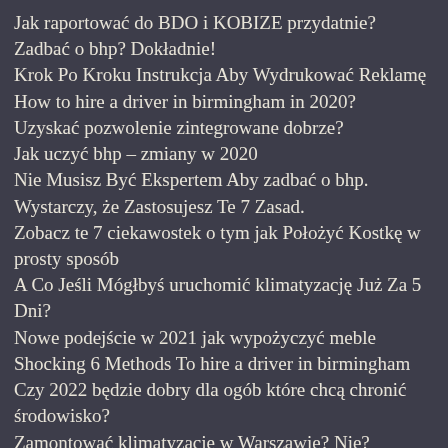Jak raportować do BDO i KOBIZE przydatnie?
Zadbać o bhp? Dokładnie!
Krok Po Kroku Instrukcja Aby Wydrukować Reklamę
How to hire a driver in birmingham in 2020?
Uzyskać pozwolenie zintegrowane dobrze?
Jak uczyć bhp – zmiany w 2020
Nie Musisz Być Ekspertem Aby zadbać o bhp. Wystarczy, że Zastosujesz Te 7 Zasad.
Zobacz te 7 ciekawostek o tym jak Położyć Kostkę w prosty sposób
A Co Jeśli Mógłbyś uruchomić klimatyzację Już Za 5 Dni?
Nowe podejście w 2021 jak wypożyczyć meble
Shocking 6 Methods To hire a driver in birmingham
Czy 2022 będzie dobry dla ogób które chcą chronić środowisko?
Zamontować klimatyzację w Warszawie? Nie?
Nowe metody w 2020 jak lepiej uczyć bhp
2022 dobrym czasem aby naprawić instalacje w